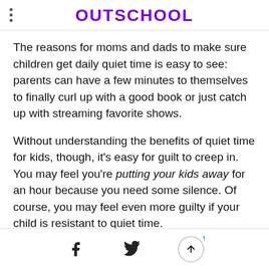OUTSCHOOL
The reasons for moms and dads to make sure children get daily quiet time is easy to see: parents can have a few minutes to themselves to finally curl up with a good book or just catch up with streaming favorite shows.
Without understanding the benefits of quiet time for kids, though, it’s easy for guilt to creep in. You may feel you’re putting your kids away for an hour because you need some silence. Of course, you may feel even more guilty if your child is resistant to quiet time.
Social share and scroll-up icons